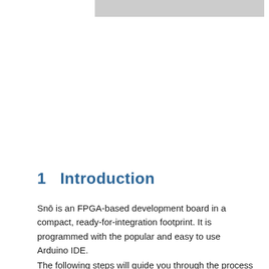[Figure (photo): Gray image bar at top of page, partially visible]
1   Introduction
Snō is an FPGA-based development board in a compact, ready-for-integration footprint. It is programmed with the popular and easy to use Arduino IDE.
The following steps will guide you through the process